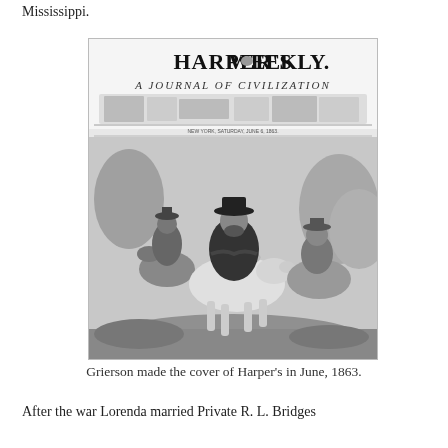Mississippi.
[Figure (illustration): Cover of Harper's Weekly showing soldiers on horseback, with masthead reading 'HARPER'S WEEKLY. A JOURNAL OF CIVILIZATION', dated New York, Saturday, June 1863.]
Grierson made the cover of Harper's in June, 1863.
After the war Lorenda married Private R. L. Bridges